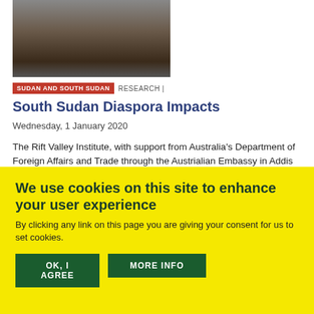[Figure (photo): Cropped photo showing people seated at a table, partially visible]
SUDAN AND SOUTH SUDAN  RESEARCH |
South Sudan Diaspora Impacts
Wednesday, 1 January 2020
The Rift Valley Institute, with support from Australia's Department of Foreign Affairs and Trade through the Austrialian Embassy in Addis Ababa, is currently working with a group of researchers and scholars from the University of Juba, South Sudan, and Monash University in Melbourne, Australia, to explore the relationship between Australian South Sudanese communities and their friends
We use cookies on this site to enhance your user experience
By clicking any link on this page you are giving your consent for us to set cookies.
OK, I AGREE  MORE INFO